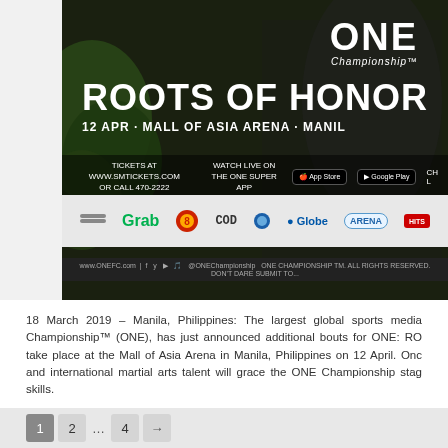[Figure (photo): ONE Championship 'Roots of Honor' event promotional poster showing event details: 12 APR, Mall of Asia Arena, Manila. Features fighters, sponsor logos (Grab, Globe, Arena), app store buttons, and social media links.]
18 March 2019 – Manila, Philippines: The largest global sports media Championship™ (ONE), has just announced additional bouts for ONE: RO take place at the Mall of Asia Arena in Manila, Philippines on 12 April. Onc and international martial arts talent will grace the ONE Championship stag skills.
Read more →
Tags: ADDITIONAL BOUTS ANNOUNCED FOR, In, MANILA, ON 12 APRIL, ROOTS OF HONOR
1
2
...
4
→